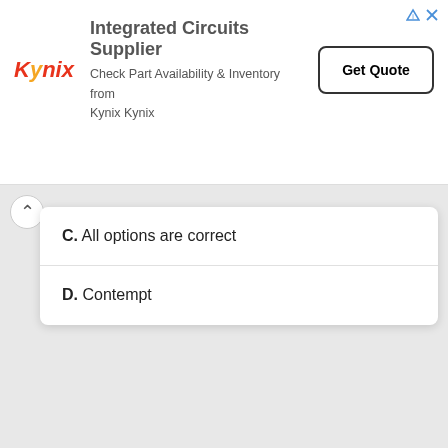[Figure (infographic): Kynix Integrated Circuits Supplier advertisement banner with logo, text, and Get Quote button]
C. All options are correct
D. Contempt